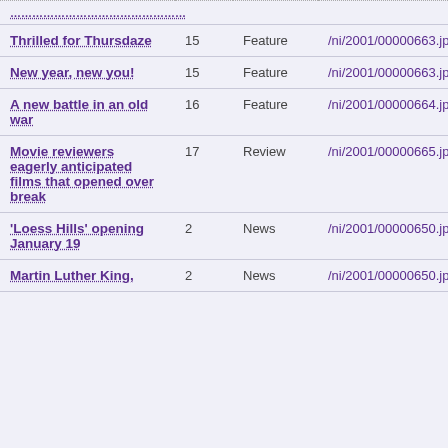| Title | Page | Type | File |
| --- | --- | --- | --- |
| Thrilled for Thursdaze | 15 | Feature | /ni/2001/00000663.jpg |
| New year, new you! | 15 | Feature | /ni/2001/00000663.jpg |
| A new battle in an old war | 16 | Feature | /ni/2001/00000664.jpg |
| Movie reviewers eagerly anticipated films that opened over break | 17 | Review | /ni/2001/00000665.jpg |
| 'Loess Hills' opening January 19 | 2 | News | /ni/2001/00000650.jpg |
| Martin Luther King, | 2 | News | /ni/2001/00000650.jpg |